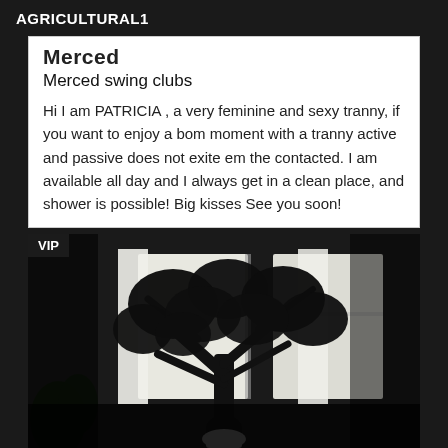AGRICULTURAL1
Merced
Merced swing clubs
Hi I am PATRICIA , a very feminine and sexy tranny, if you want to enjoy a bom moment with a tranny active and passive does not exite em the contacted. I am available all day and I always get in a clean place, and shower is possible! Big kisses See you soon!
[Figure (photo): Indoor photo showing a large dark bonsai-style tree silhouetted against a bright window with white curtains. Room interior visible with dim lighting. VIP badge in top-left corner.]